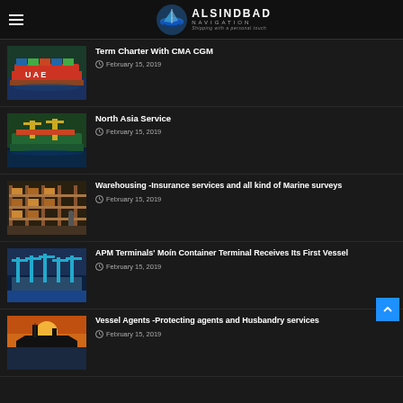ALSINDBAD NAVIGATION — Shipping with a personal touch
Term Charter With CMA CGM
February 15, 2019
North Asia Service
February 15, 2019
Warehousing -Insurance services and all kind of Marine surveys
February 15, 2019
APM Terminals' Moín Container Terminal Receives Its First Vessel
February 15, 2019
Vessel Agents -Protecting agents and Husbandry services
February 15, 2019